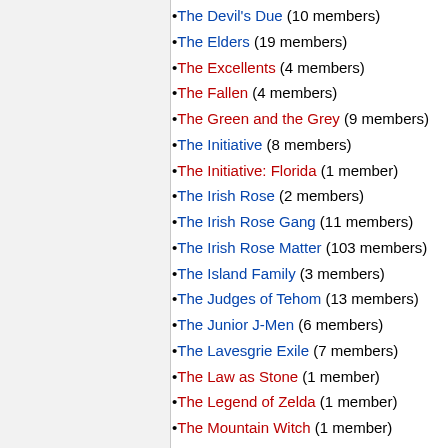The Devil's Due (10 members)
The Elders (19 members)
The Excellents (4 members)
The Fallen (4 members)
The Green and the Grey (9 members)
The Initiative (8 members)
The Initiative: Florida (1 member)
The Irish Rose (2 members)
The Irish Rose Gang (11 members)
The Irish Rose Matter (103 members)
The Island Family (3 members)
The Judges of Tehom (13 members)
The Junior J-Men (6 members)
The Lavesgrie Exile (7 members)
The Law as Stone (1 member)
The Legend of Zelda (1 member)
The Mountain Witch (1 member)